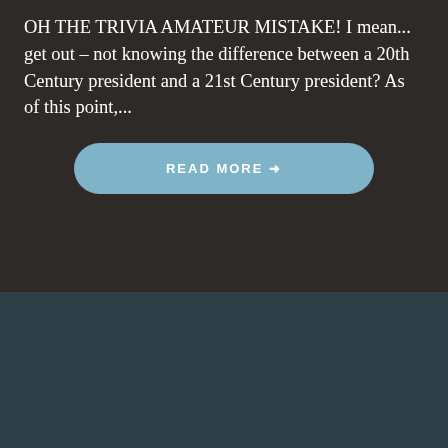OH THE TRIVIA AMATEUR MISTAKE! I mean... get out – not knowing the difference between a 20th Century president and a 21st Century president? As of this point,...
READ MORE →
LOOKS LIKE I HAVE TO UPDATE MY EGOT BLOG